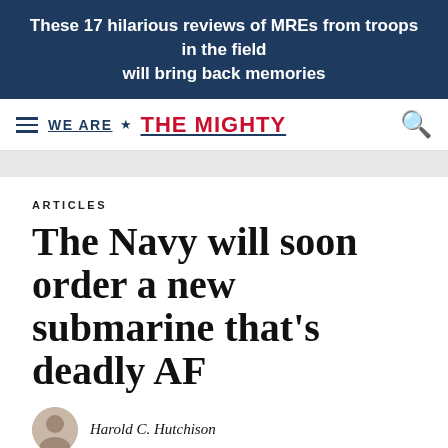These 17 hilarious reviews of MREs from troops in the field will bring back memories
[Figure (logo): We Are The Mighty website logo with hamburger menu and search icon]
ARTICLES
The Navy will soon order a new submarine that's deadly AF
Harold C. Hutchison